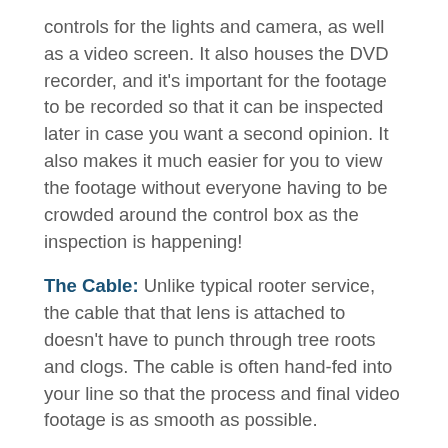controls for the lights and camera, as well as a video screen. It also houses the DVD recorder, and it's important for the footage to be recorded so that it can be inspected later in case you want a second opinion. It also makes it much easier for you to view the footage without everyone having to be crowded around the control box as the inspection is happening!
The Cable: Unlike typical rooter service, the cable that that lens is attached to doesn't have to punch through tree roots and clogs. The cable is often hand-fed into your line so that the process and final video footage is as smooth as possible.
The Technician: Perhaps the most important part of the sewer scope is the person who is performing the inspection. While it's great that